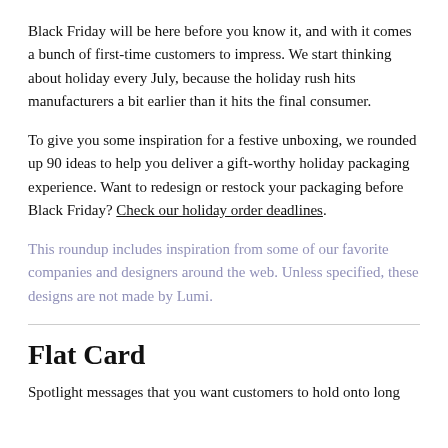Black Friday will be here before you know it, and with it comes a bunch of first-time customers to impress. We start thinking about holiday every July, because the holiday rush hits manufacturers a bit earlier than it hits the final consumer.
To give you some inspiration for a festive unboxing, we rounded up 90 ideas to help you deliver a gift-worthy holiday packaging experience. Want to redesign or restock your packaging before Black Friday? Check our holiday order deadlines.
This roundup includes inspiration from some of our favorite companies and designers around the web. Unless specified, these designs are not made by Lumi.
Flat Card
Spotlight messages that you want customers to hold onto long